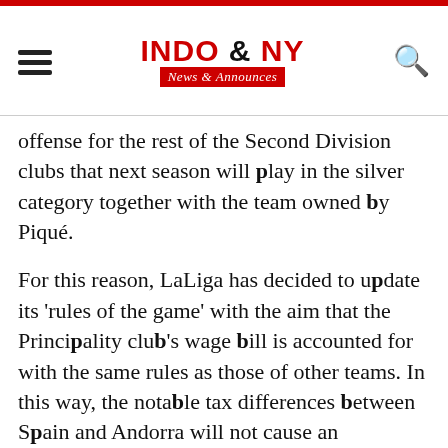INDO & NY News & Announces
offense for the rest of the Second Division clubs that next season will play in the silver category together with the team owned by Piqué.
For this reason, LaLiga has decided to update its 'rules of the game' with the aim that the Principality club's wage bill is accounted for with the same rules as those of other teams. In this way, the notable tax differences between Spain and Andorra will not cause an imbalance in the competition, which is the goal that the employers have sought so that everyone competes under the same economic conditions.
Thus, in the case of clubs with tax residence in Andorra, the amount to be computed as the cost of the sports squad will be conditioned by the